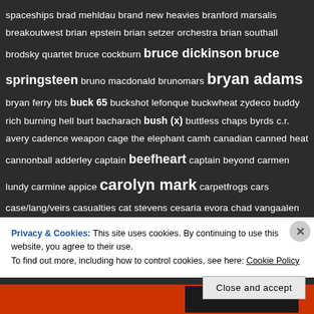spaceships brad mehldau brand new heavies branford marsalis breakoutwest brian epstein brian setzer orchestra brian southall brodsky quartet bruce cockburn bruce dickinson bruce springsteen bruno macdonald brunomars bryan adams bryan ferry bts buck 65 buckshot lefonque buckwheat zydeco buddy rich burning hell burt bacharach bush (x) buttless chaps byrds c.r. avery cadence weapon cage the elephant camh canadian canned heat cannonball adderley captain beefheart captain beyond carmen lundy carmine appice carolyn mark carpetfrogs cars case/lang/veirs casualties cat stevens cesaria evora chad vangaalen charles mingus charlie
Privacy & Cookies: This site uses cookies. By continuing to use this website, you agree to their use.
To find out more, including how to control cookies, see here: Cookie Policy
Close and accept